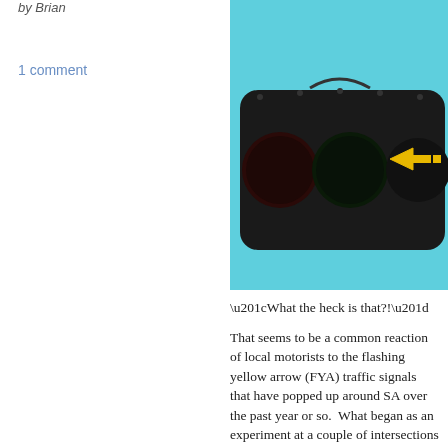by Brian
1 comment
[Figure (photo): A horizontal traffic signal with three dark circular lights and one illuminated yellow flashing arrow pointing left, mounted on a black housing against a cyan/teal background.]
“What the heck is that?!”
That seems to be a common reaction of local motorists to the flashing yellow arrow (FYA) traffic signals that have popped up around SA over the past year or so.  What began as an experiment at a couple of intersections – Wurzbach Rd. and San Pedro Ave. has now spread to many intersections and will now become a standard, not just here but nationwide, as it’s in the federal Manual on Uniform Traffic Control D… there has been some second-guessing among motorists about this newfangled signal, but understanding the research behind it generally allays those knee-jerk criticisms.
more »